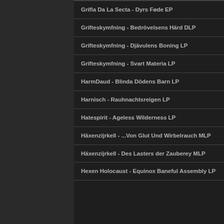Grifla Da La Secta - Dyrs Føde EP
Grifteskymfning - Bedrövelsens Härd DLP
Grifteskymfning - Djävulens Boning LP
Grifteskymfning - Svart Materia LP
HarmDaud - Blinda Dödens Barn LP
Harnisch - Rauhnachtsreigen LP
Hatespirit - Ageless Wilderness LP
Häxenzijrkell - ...Von Glut Und Wirbelrauch MLP
Häxenzijrkell - Des Lasters der Zauberey MLP
Hexen Holocaust - Equinox Baneful Assembly LP